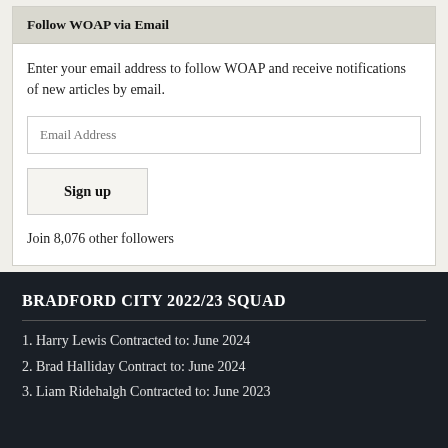Follow WOAP via Email
Enter your email address to follow WOAP and receive notifications of new articles by email.
Email Address
Sign up
Join 8,076 other followers
BRADFORD CITY 2022/23 SQUAD
1. Harry Lewis Contracted to: June 2024
2. Brad Halliday Contract to: June 2024
3. Liam Ridehalgh Contracted to: June 2023